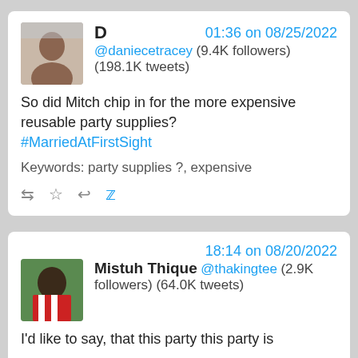[Figure (screenshot): Tweet card 1: User D (@daniecetracey, 9.4K followers, 198.1K tweets) at 01:36 on 08/25/2022. Tweet text: 'So did Mitch chip in for the more expensive reusable party supplies? #MarriedAtFirstSight'. Keywords: party supplies ?, expensive.]
[Figure (screenshot): Tweet card 2: Mistuh Thique (@thakingtee, 2.9K followers, 64.0K tweets) at 18:14 on 08/20/2022. Tweet text begins: 'I'd like to say, that this party this party is...']